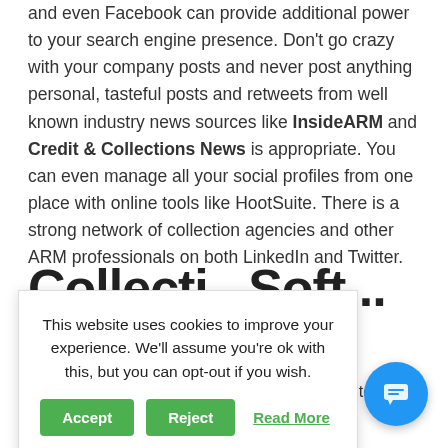and even Facebook can provide additional power to your search engine presence. Don't go crazy with your company posts and never post anything personal, tasteful posts and retweets from well known industry news sources like InsideARM and Credit & Collections News is appropriate. You can even manage all your social profiles from one place with online tools like HootSuite. There is a strong network of collection agencies and other ARM professionals on both LinkedIn and Twitter.
Collecti...
...rketing the ... Both pote... and read... information on your website and it is important to wal...
[Figure (other): Cookie consent banner overlay with text 'This website uses cookies to improve your experience. We'll assume you're ok with this, but you can opt-out if you wish.' with Accept, Reject, and Read More buttons.]
[Figure (other): Blue circular chat/messenger widget button in the bottom right corner.]